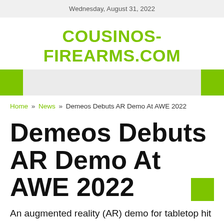Wednesday, August 31, 2022
COUSINOS-FIREARMS.COM
Home » News » Demeos Debuts AR Demo At AWE 2022
Demeos Debuts AR Demo At AWE 2022
An augmented reality (AR) demo for tabletop hit